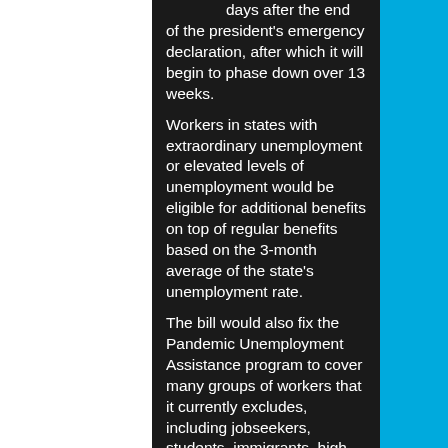days after the end of the president's emergency declaration, after which it will begin to phase down over 13 weeks.
Workers in states with extraordinary unemployment or elevated levels of unemployment would be eligible for additional benefits on top of regular benefits based on the 3-month average of the state's unemployment rate.
The bill would also fix the Pandemic Unemployment Assistance program to cover many groups of workers that it currently excludes, including jobseekers, students, immigrants, high risk workers and their families.
For the full bill draft, click here.
EXTENDPUA.ORG RESPONSE
Our concern with the bill? Only that Trump will end the Emergency